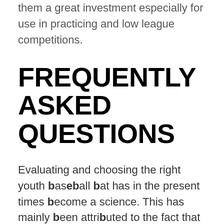them a great investment especially for use in practicing and low league competitions.
FREQUENTLY ASKED QUESTIONS
Evaluating and choosing the right youth baseball bat has in the present times become a science. This has mainly been attributed to the fact that these bats are in plenty in the market from different brands and